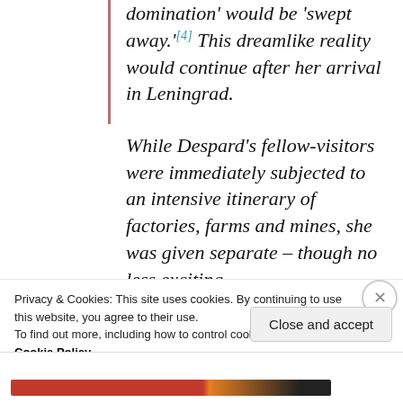domination' would be 'swept away.'[4] This dreamlike reality would continue after her arrival in Leningrad.

While Despard's fellow-visitors were immediately subjected to an intensive itinerary of factories, farms and mines, she was given separate – though no less exciting –
Privacy & Cookies: This site uses cookies. By continuing to use this website, you agree to their use.
To find out more, including how to control cookies, see here: Cookie Policy
Close and accept